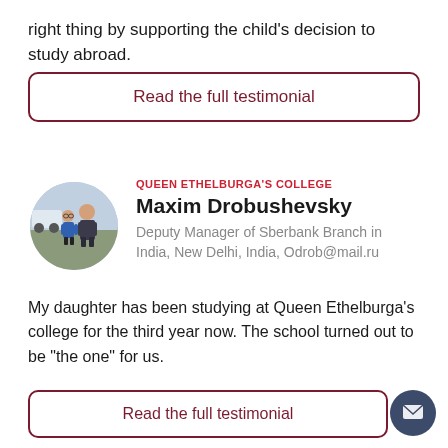right thing by supporting the child's decision to study abroad.
Read the full testimonial
QUEEN ETHELBURGA'S COLLEGE
Maxim Drobushevsky
Deputy Manager of Sberbank Branch in India, New Delhi, India, Odrob@mail.ru
My daughter has been studying at Queen Ethelburga's college for the third year now. The school turned out to be "the one" for us.
Read the full testimonial